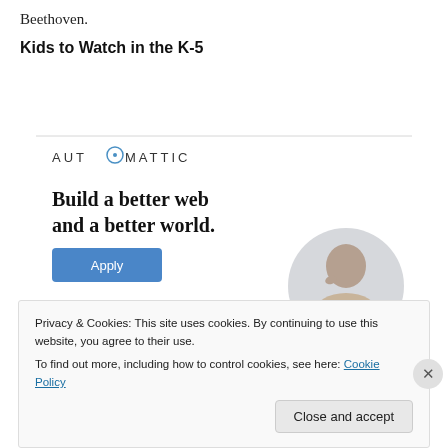Beethoven.
Kids to Watch in the K-5
[Figure (other): Automattic advertisement banner with logo, headline 'Build a better web and a better world.', an Apply button, and a photo of a person thinking]
Privacy & Cookies: This site uses cookies. By continuing to use this website, you agree to their use.
To find out more, including how to control cookies, see here: Cookie Policy